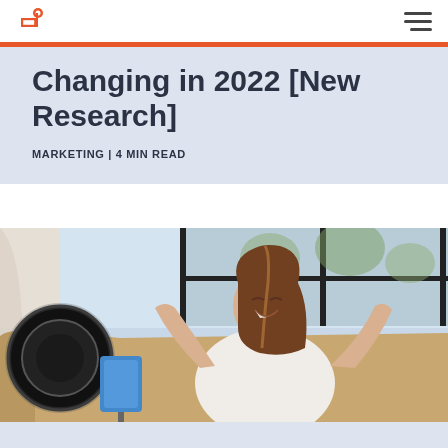HubSpot | Navigation menu
Changing in 2022 [New Research]
MARKETING | 4 MIN READ
[Figure (photo): A smiling woman with long brown hair sitting on a tan couch in front of large windows, laughing with her hands raised. A ring light and tablet on a stand are visible to her left, in a bright living room setting.]